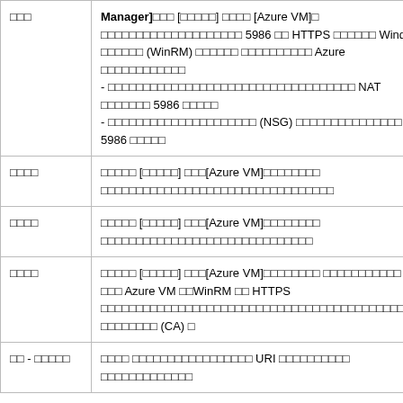| □□□ | Manager]□□□ [□□□□□] □□□□ [Azure VM]□ □□□□□□□□□□□□□□□□□□□□ 5986 □□ HTTPS □□□□□□ Windows □□□□□□ (WinRM) □□□□□□ □□□□□□□□□□ Azure □□□□□□□□□□□□
- □□□□□□□□□□□□□□□□□□□□□□□□□□□□□□□□□□ NAT □□□□□□□ 5986 □□□□□
- □□□□□□□□□□□□□□□□□□□□□ (NSG) □□□□□□□□□□□□□□□ □□□ 5986 □□□□□ |
| □□□□ | □□□□□ [□□□□□] □□□[Azure VM]□□□□□□□□ □□□□□□□□□□□□□□□□□□□□□□□□□□□□□□□□□ |
| □□□□ | □□□□□ [□□□□□] □□□[Azure VM]□□□□□□□□ □□□□□□□□□□□□□□□□□□□□□□□□□□□□□□ |
| □□□□ | □□□□□ [□□□□□] □□□[Azure VM]□□□□□□□□ □□□□□□□□□□□ Blob □□□ Azure VM □□WinRM □□ HTTPS □□□□□□□□□□□□□□□□□□□□□□□□□□□□□□□□□□□□□□□□□□□□□□□□□□□□□□ (CA) □ |
| □□ - □□□□□ | □□□□ □□□□□□□□□□□□□□□□□ URI □□□□□□□□□□ □□□□□□□□□□□□□ |